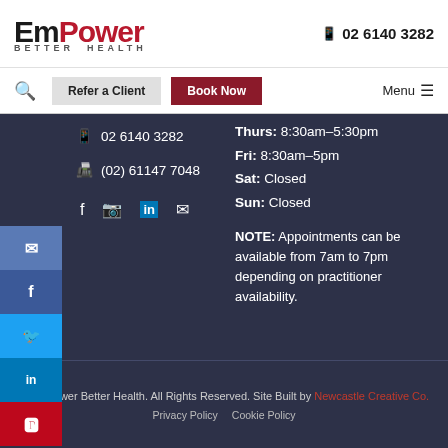EmPower BETTER HEALTH | 02 6140 3282
Search | Refer a Client | Book Now | Menu
02 6140 3282
(02) 61147 7048
Thurs: 8:30am–5:30pm
Fri: 8:30am–5pm
Sat: Closed
Sun: Closed
NOTE: Appointments can be available from 7am to 7pm depending on practitioner availability.
© EmPower Better Health. All Rights Reserved. Site Built by Newcastle Creative Co.
Privacy Policy  Cookie Policy